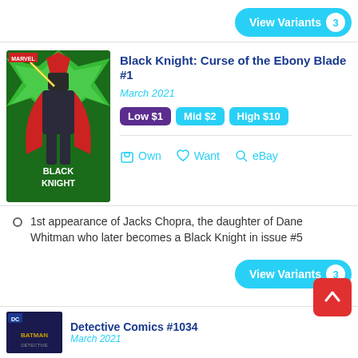View Variants 3
Black Knight: Curse of the Ebony Blade #1
March 2021
Low $1  Mid $2  High $10
Own  Want  eBay
1st appearance of Jacks Chopra, the daughter of Dane Whitman who later becomes a Black Knight in issue #5
View Variants 3
Detective Comics #1034
March 2021